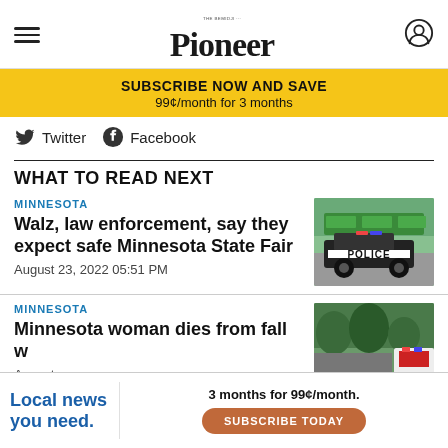The Bemidji Pioneer
SUBSCRIBE NOW AND SAVE
99¢/month for 3 months
Twitter  Facebook
WHAT TO READ NEXT
MINNESOTA
Walz, law enforcement, say they expect safe Minnesota State Fair
August 23, 2022 05:51 PM
[Figure (photo): Police car parked in front of buildings with green awnings]
MINNESOTA
Minnesota woman dies from fall w…
August …
[Figure (photo): Emergency vehicles, trees in background]
Local news you need.  3 months for 99¢/month.  SUBSCRIBE TODAY